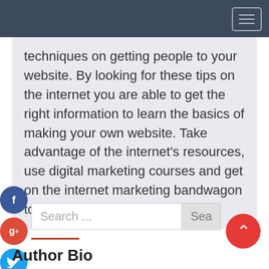techniques on getting people to your website. By looking for these tips on the internet you are able to get the right information to learn the basics of making your own website. Take advantage of the internet's resources, use digital marketing courses and get on the internet marketing bandwagon today!
Search ...
Author Bio